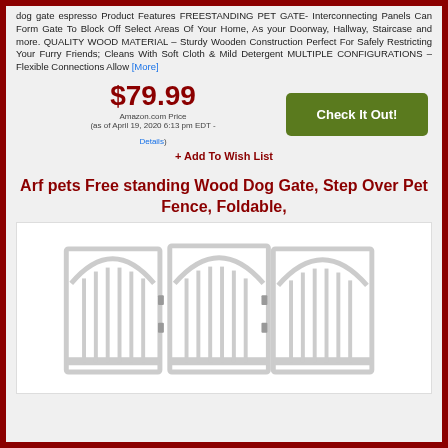dog gate espresso Product Features FREESTANDING PET GATE- Interconnecting Panels Can Form Gate To Block Off Select Areas Of Your Home, As your Doorway, Hallway, Staircase and more. QUALITY WOOD MATERIAL – Sturdy Wooden Construction Perfect For Safely Restricting Your Furry Friends; Cleans With Soft Cloth & Mild Detergent MULTIPLE CONFIGURATIONS – Flexible Connections Allow [More]
$79.99 Amazon.com Price (as of April 19, 2020 6:13 pm EDT - Details) + Add To Wish List
Arf pets Free standing Wood Dog Gate, Step Over Pet Fence, Foldable,
[Figure (photo): White freestanding foldable wooden dog gate with three arched panels and vertical slats, shown folded in a zigzag configuration]